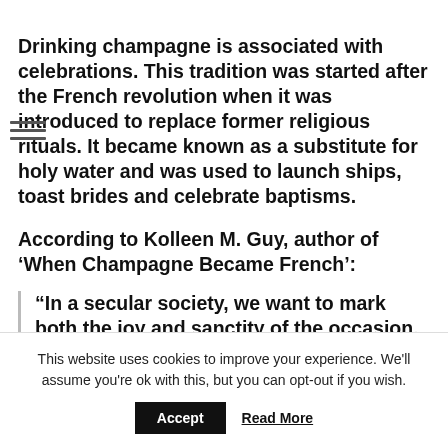Drinking champagne is associated with celebrations. This tradition was started after the French revolution when it was introduced to replace former religious rituals. It became known as a substitute for holy water and was used to launch ships, toast brides and celebrate baptisms.
According to Kolleen M. Guy, author of ‘When Champagne Became French’:
“In a secular society, we want to mark both the joy and sanctity of the occasion.
This website uses cookies to improve your experience. We'll assume you're ok with this, but you can opt-out if you wish.
Accept
Read More